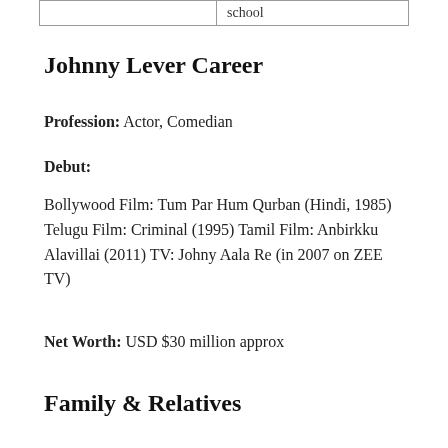|  | school |
Johnny Lever Career
Profession: Actor, Comedian
Debut:
Bollywood Film: Tum Par Hum Qurban (Hindi, 1985) Telugu Film: Criminal (1995) Tamil Film: Anbirkku Alavillai (2011) TV: Johny Aala Re (in 2007 on ZEE TV)
Net Worth: USD $30 million approx
Family & Relatives